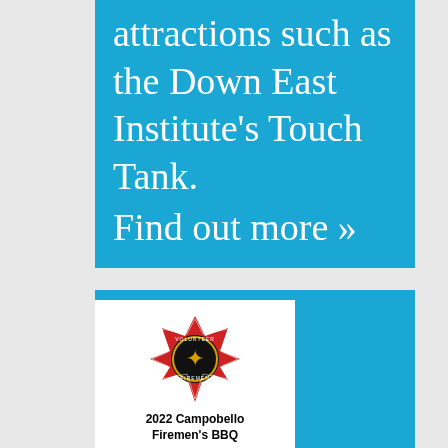attractions such as the Down East Institute's Touch Tank.
Find out more »
[Figure (logo): Volunteer Firemen's emblem/badge — red and black Maltese cross with firefighting equipment imagery]
2022 Campobello Firemen's BBQ
Come join us for some yummy bbq and fried dough. We will also have a dessert auction and lots of goodie baskets to raffle off